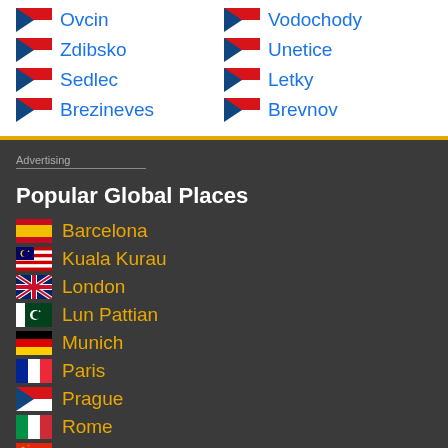Ovcin
Vodochody
Zdibsko
Unetice
Sedlec
Letky
Brezineves
Brevnov
Advertising
Popular Global Places
Barcelona
Kuala Kurau
London
Lun Pattian
Munich
Paris
Prague
Rome
Shanghai